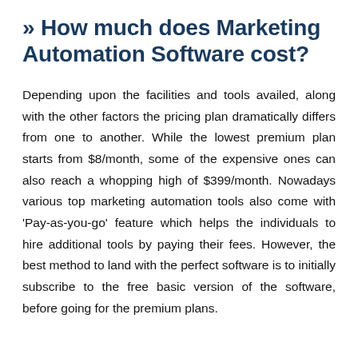» How much does Marketing Automation Software cost?
Depending upon the facilities and tools availed, along with the other factors the pricing plan dramatically differs from one to another. While the lowest premium plan starts from $8/month, some of the expensive ones can also reach a whopping high of $399/month. Nowadays various top marketing automation tools also come with 'Pay-as-you-go' feature which helps the individuals to hire additional tools by paying their fees. However, the best method to land with the perfect software is to initially subscribe to the free basic version of the software, before going for the premium plans.